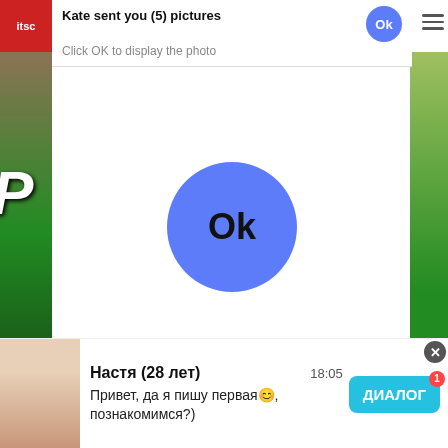[Figure (screenshot): Screenshot of a mobile browser with multiple overlapping UI elements: a notification popup saying 'Kate sent you (5) pictures / Click OK to display the photo' with a blue OK button, a large blue OK button in center of a white dialog area, a red logo header bar, page titles partially visible ('Canci...dia / QUEVEDO || BZRP Music Sessions #52)'), an ads bar showing 'Ads by Clickadilla / Skip in 5 seconds x', video thumbnails at bottom, and a chat notification banner with 'Настя (28 лет) 18:05 / Привет, да я пишу первая😊, познакомимся?)' and a teal ДИАЛОГ button.]